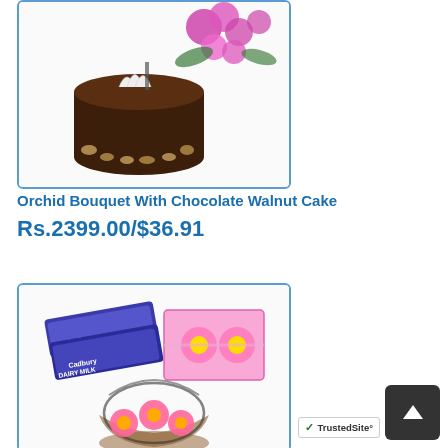[Figure (photo): Product photo of an orchid bouquet with pink orchids and a chocolate walnut cake decorated with white fans, inside a blue-bordered card frame]
Orchid Bouquet With Chocolate Walnut Cake
Rs.2399.00/$36.91
[Figure (photo): Product photo showing Cadbury Dairy Milk chocolate bars, a pink gift box with flower candles, and a basket arrangement of pink gerbera daisies with decorative dark twigs]